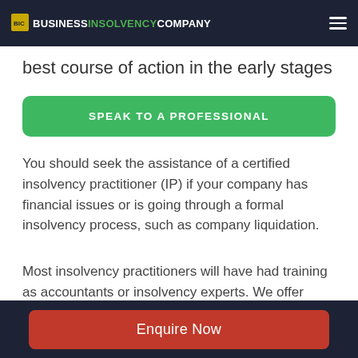BUSINESSINSOLVENCYCOMPANY
best course of action in the early stages
SPEAK TO A PROFESSIONAL
You should seek the assistance of a certified insolvency practitioner (IP) if your company has financial issues or is going through a formal insolvency process, such as company liquidation.
Most insolvency practitioners will have had training as accountants or insolvency experts. We offer advice and undertake appointments in all formal insolvency procedures.
Enquire Now